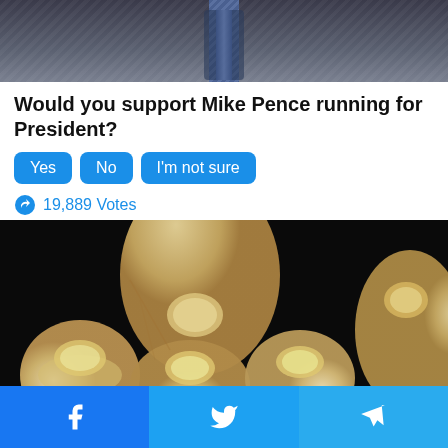[Figure (photo): Partial photo of a man in a dark suit with a striped tie, cropped to show torso area]
Would you support Mike Pence running for President?
Yes  No  I'm not sure
19,889 Votes
[Figure (photo): Close-up photo of a hand showing fingernails with yellowish discoloration, suggesting nail fungus]
Facebook share  Twitter share  Telegram share